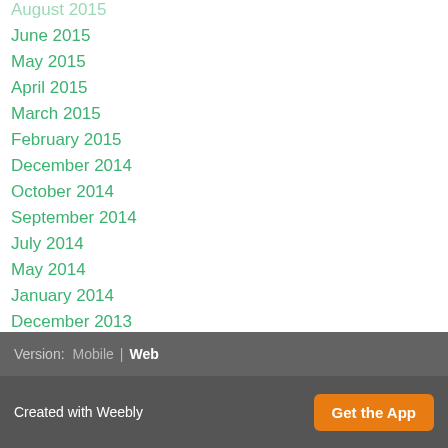August 2015
June 2015
May 2015
April 2015
March 2015
February 2015
December 2014
October 2014
September 2014
July 2014
May 2014
January 2014
December 2013
October 2013
RSS Feed
Version: Mobile | Web
Created with Weebly  Get the App